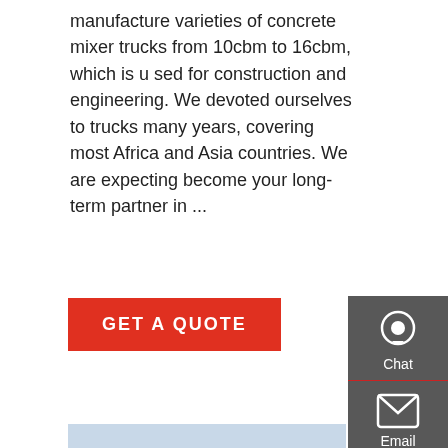manufacture varieties of concrete mixer trucks from 10cbm to 16cbm, which is u sed for construction and engineering. We devoted ourselves to trucks many years, covering most Africa and Asia countries. We are expecting become your long-term partner in ...
GET A QUOTE
[Figure (other): Sidebar widget panel with Chat, Email, and Contact icons on dark gray background]
[Figure (photo): Rear view of a HOWO truck in a commercial vehicle lot, with red trucks on the left, white cars on the right, and industrial buildings in the background]